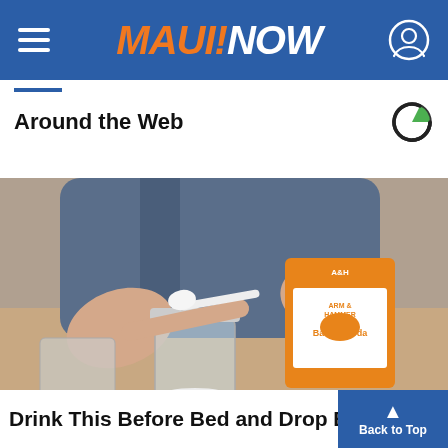MAUI NOW
Around the Web
[Figure (photo): Person in denim shirt spooning baking soda (Arm & Hammer brand) from an orange box into a glass mason jar on a countertop]
Drink This Before Bed and Drop Bod